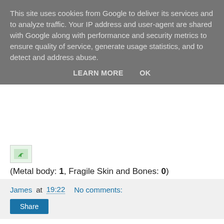This site uses cookies from Google to deliver its services and to analyze traffic. Your IP address and user-agent are shared with Google along with performance and security metrics to ensure quality of service, generate usage statistics, and to detect and address abuse.
LEARN MORE    OK
[Figure (illustration): Small thumbnail image with a green leaf/plant icon]
(Metal body: 1, Fragile Skin and Bones: 0)
James at 19:22    No comments:
Share
‹
Home
›
View web version
Powered by Blogger.